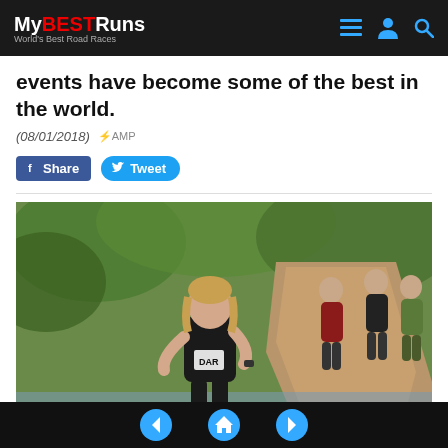MyBESTRuns — World's Best Road Races
events have become some of the best in the world.
(08/01/2018) ⚡AMP
[Figure (other): Facebook Share button and Twitter Tweet button]
[Figure (photo): A woman in black athletic wear crossing a rocky creek during a trail race, with other runners visible on a dirt path in the background surrounded by green vegetation.]
Navigation: back, home, forward